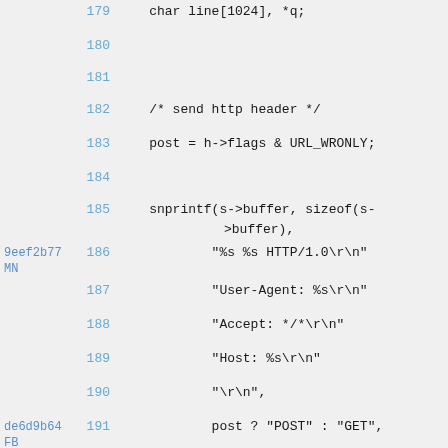179    char line[1024], *q;
180
181
182    /* send http header */
183    post = h->flags & URL_WRONLY;
184
185    snprintf(s->buffer, sizeof(s->buffer),
9eef2b77 MN  186    "%s %s HTTP/1.0\r\n"
187    "User-Agent: %s\r\n"
188    "Accept: */*\r\n"
189    "Host: %s\r\n"
190    "\r\n",
de6d9b64 FB  191    post ? "POST" : "GET",
192    path,
4250dafc  193    LIBAVFORMAT_IDENT,